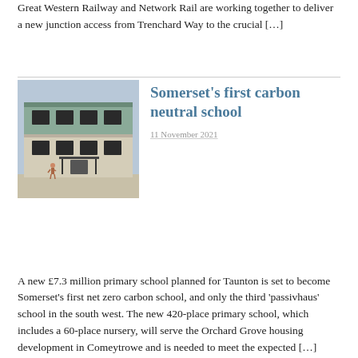Great Western Railway and Network Rail are working together to deliver a new junction access from Trenchard Way to the crucial […]
[Figure (photo): Exterior rendering of a modern two-storey school building with large windows and a canopied entrance, a figure standing near the entrance.]
Somerset's first carbon neutral school
11 November 2021
A new £7.3 million primary school planned for Taunton is set to become Somerset's first net zero carbon school, and only the third 'passivhaus' school in the south west. The new 420-place primary school, which includes a 60-place nursery, will serve the Orchard Grove housing development in Comeytrowe and is needed to meet the expected […]